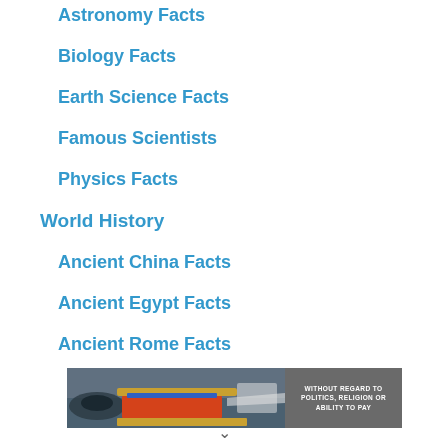Astronomy Facts
Biology Facts
Earth Science Facts
Famous Scientists
Physics Facts
World History
Ancient China Facts
Ancient Egypt Facts
Ancient Rome Facts
[Figure (photo): Advertisement banner showing an airplane being loaded with cargo, with text 'WITHOUT REGARD TO POLITICS, RELIGION OR ABILITY TO PAY']
∨